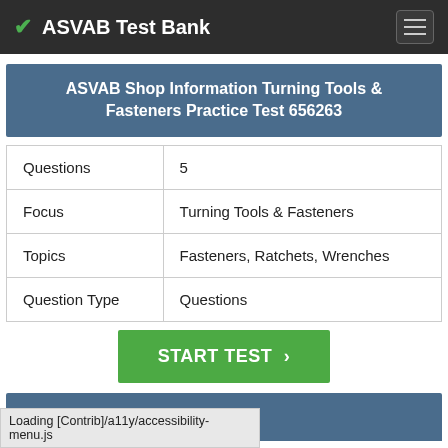ASVAB Test Bank
ASVAB Shop Information Turning Tools & Fasteners Practice Test 656263
| Questions | 5 |
| Focus | Turning Tools & Fasteners |
| Topics | Fasteners, Ratchets, Wrenches |
| Question Type | Questions |
START TEST ›
Study Guide
Loading [Contrib]/a11y/accessibility-menu.js